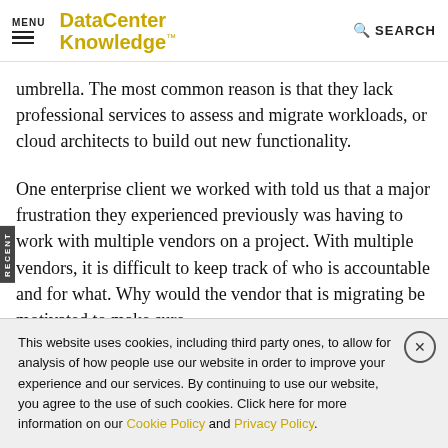MENU | DataCenter Knowledge™ | SEARCH
umbrella. The most common reason is that they lack professional services to assess and migrate workloads, or cloud architects to build out new functionality.
One enterprise client we worked with told us that a major frustration they experienced previously was having to work with multiple vendors on a project. With multiple vendors, it is difficult to keep track of who is accountable and for what. Why would the vendor that is migrating be motivated to make sure
This website uses cookies, including third party ones, to allow for analysis of how people use our website in order to improve your experience and our services. By continuing to use our website, you agree to the use of such cookies. Click here for more information on our Cookie Policy and Privacy Policy.